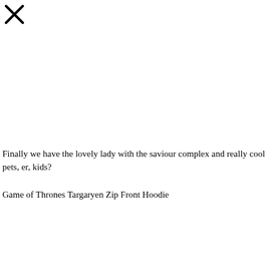[Figure (other): Close/X button icon in the top-left corner]
Finally we have the lovely lady with the saviour complex and really cool pets, er, kids?
Game of Thrones Targaryen Zip Front Hoodie